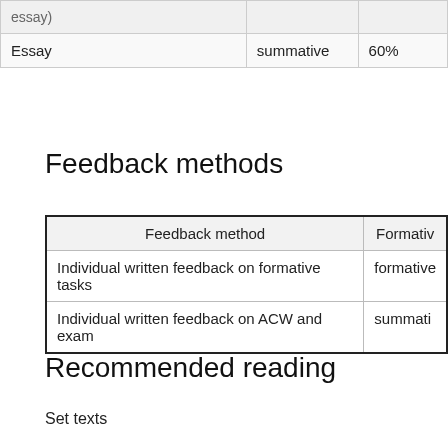|  | summative | 60% |
| --- | --- | --- |
| essay) |  |  |
| Essay | summative | 60% |
Feedback methods
| Feedback method | Formative/summative |
| --- | --- |
| Individual written feedback on formative tasks | formative |
| Individual written feedback on ACW and exam | summative |
Recommended reading
Set texts